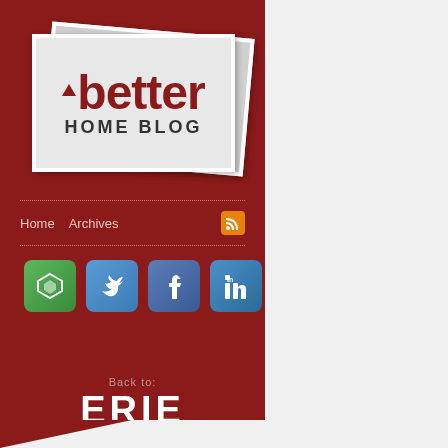[Figure (logo): Better Home Blog logo on card/paper visual]
Home   Archives
[Figure (illustration): Four social media icons: green (Erie), Twitter blue, Facebook blue, LinkedIn blue]
Back to:
ERIE
[Figure (photo): Photo of a man in a blue shirt outdoors]
August 30, 201...
3 Ways to...
Posted by Kimbe...
A buyer's market... on sale but few b... demands and mo... the deal in your fa...